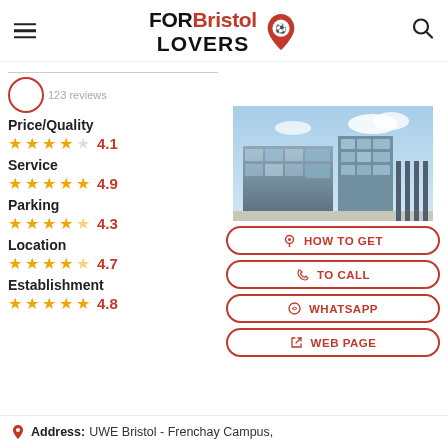FOR Bristol LOVERS
Price/Quality  ★★★★☆  4.1
Service  ★★★★★  4.9
Parking  ★★★★½  4.3
Location  ★★★★½  4.7
Establishment  ★★★★★  4.8
[Figure (photo): Modern glass and concrete university building (UWE Bristol Frenchay Campus) under blue sky with clouds]
HOW TO GET
TO CALL
WHATSAPP
WEB PAGE
Address: UWE Bristol - Frenchay Campus,